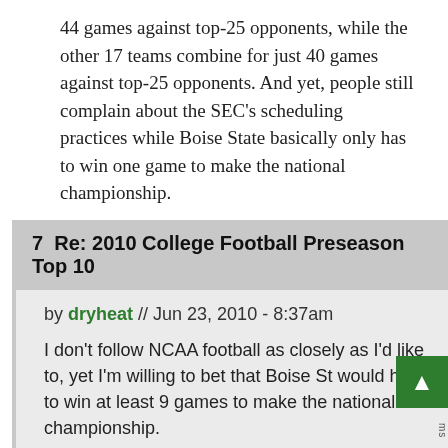44 games against top-25 opponents, while the other 17 teams combine for just 40 games against top-25 opponents. And yet, people still complain about the SEC's scheduling practices while Boise State basically only has to win one game to make the national championship.
7  Re: 2010 College Football Preseason Top 10
by dryheat // Jun 23, 2010 - 8:37am
I don't follow NCAA football as closely as I'd like to, yet I'm willing to bet that Boise St would have to win at least 9 games to make the national championship.